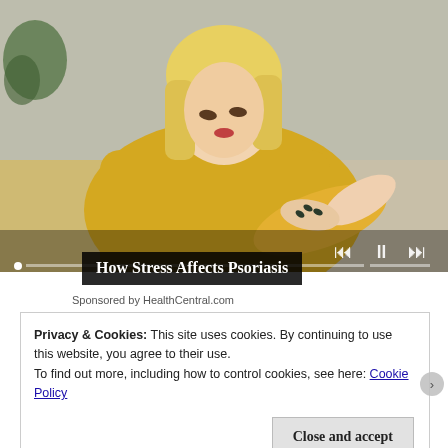[Figure (photo): A blonde woman in a yellow/mustard knit sweater sitting on a gray couch, looking down and scratching or examining her elbow/forearm. Background shows a living room with plants. Slideshow media player controls (previous, pause, next) visible at bottom right. Progress indicator dots at very bottom.]
How Stress Affects Psoriasis
Sponsored by HealthCentral.com
Privacy & Cookies: This site uses cookies. By continuing to use this website, you agree to their use.
To find out more, including how to control cookies, see here: Cookie Policy
Close and accept